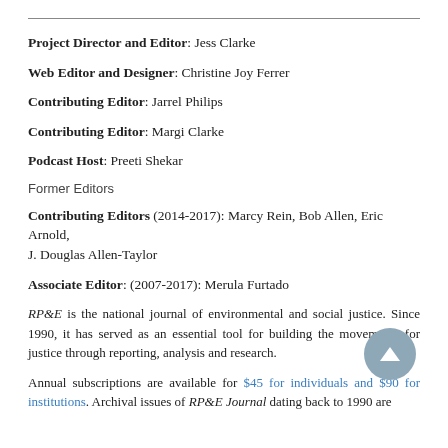Project Director and Editor: Jess Clarke
Web Editor and Designer: Christine Joy Ferrer
Contributing Editor: Jarrel Philips
Contributing Editor: Margi Clarke
Podcast Host: Preeti Shekar
Former Editors
Contributing Editors (2014-2017): Marcy Rein, Bob Allen, Eric Arnold, J. Douglas Allen-Taylor
Associate Editor: (2007-2017): Merula Furtado
RP&E is the national journal of environmental and social justice. Since 1990, it has served as an essential tool for building the movements for justice through reporting, analysis and research.
Annual subscriptions are available for $45 for individuals and $90 for institutions. Archival issues of RP&E Journal dating back to 1990 are